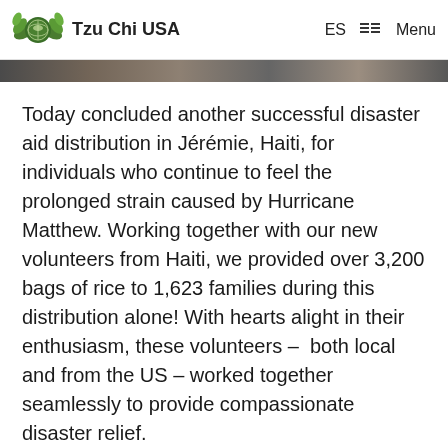Tzu Chi USA  ES  Menu
[Figure (screenshot): Horizontal image strip showing a partial photo at the top of the page]
Today concluded another successful disaster aid distribution in Jérémie, Haiti, for individuals who continue to feel the prolonged strain caused by Hurricane Matthew. Working together with our new volunteers from Haiti, we provided over 3,200 bags of rice to 1,623 families during this distribution alone! With hearts alight in their enthusiasm, these volunteers –  both local and from the US – worked together seamlessly to provide compassionate disaster relief.